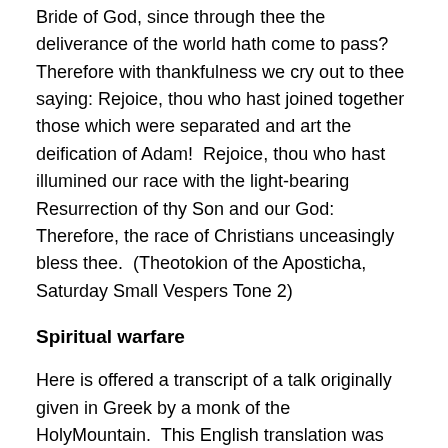Bride of God, since through thee the deliverance of the world hath come to pass?  Therefore with thankfulness we cry out to thee saying: Rejoice, thou who hast joined together those which were separated and art the deification of Adam!  Rejoice, thou who hast illumined our race with the light-bearing Resurrection of thy Son and our God: Therefore, the race of Christians unceasingly bless thee.  (Theotokion of the Aposticha, Saturday Small Vespers Tone 2)
Spiritual warfare
Here is offered a transcript of a talk originally given in Greek by a monk of the HolyMountain.  This English translation was done spontaneously as the talk was being given, therefore it will not be a word-for-word reproduction of the Elder's original words.  In a number of places the translator did not catch what the Elder had said and it is this